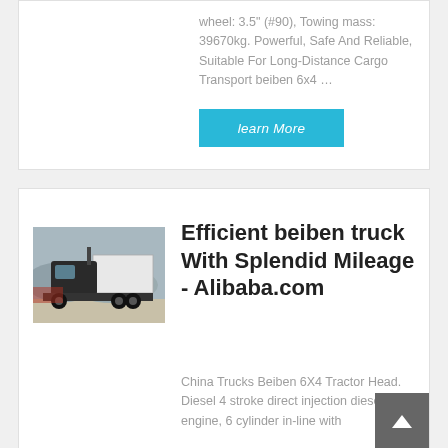wheel: 3.5" (#90), Towing mass: 39670kg. Powerful, Safe And Reliable, Suitable For Long-Distance Cargo Transport beiben 6x4 …
learn More
[Figure (photo): Photo of a beiben 6x4 tractor truck head, dark cab, rear three-quarter view, parked outdoors.]
Efficient beiben truck With Splendid Mileage - Alibaba.com
China Trucks Beiben 6X4 Tractor Head. Diesel 4 stroke direct injection diesel engine, 6 cylinder in-line with